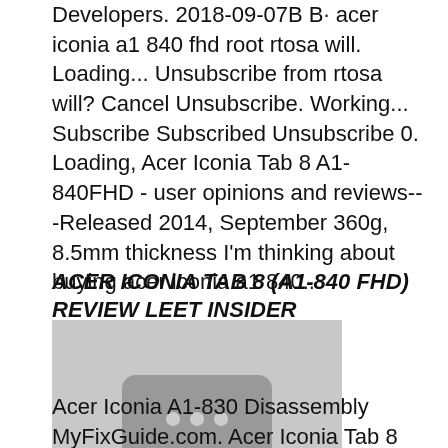Developers. 2018-09-07B B· acer iconia a1 840 fhd root rtosa will. Loading... Unsubscribe from rtosa will? Cancel Unsubscribe. Working... Subscribe Subscribed Unsubscribe 0. Loading, Acer Iconia Tab 8 A1-840FHD - user opinions and reviews---Released 2014, September 360g, 8.5mm thickness I'm thinking about buying acer iconia a1 840..
ACER ICONIA TAB 8 (A1-840 FHD) REVIEW LEET INSIDER
[Figure (other): Thumbnail placeholder image with a dark rounded rectangle containing three white dots (video/media placeholder)]
Acer Iconia A1-830 Disassembly MyFixGuide.com. Acer Iconia Tab 8 A1-840FHD - user opinions and